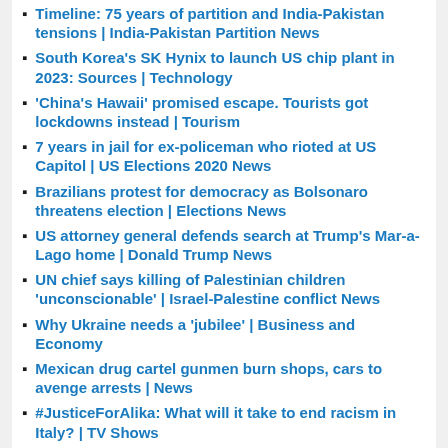Timeline: 75 years of partition and India-Pakistan tensions | India-Pakistan Partition News
South Korea's SK Hynix to launch US chip plant in 2023: Sources | Technology
'China's Hawaii' promised escape. Tourists got lockdowns instead | Tourism
7 years in jail for ex-policeman who rioted at US Capitol | US Elections 2020 News
Brazilians protest for democracy as Bolsonaro threatens election | Elections News
US attorney general defends search at Trump's Mar-a-Lago home | Donald Trump News
UN chief says killing of Palestinian children 'unconscionable' | Israel-Palestine conflict News
Why Ukraine needs a 'jubilee' | Business and Economy
Mexican drug cartel gunmen burn shops, cars to avenge arrests | News
#JusticeForAlika: What will it take to end racism in Italy? | TV Shows
Lion Air victims get payout after Boeing settlement